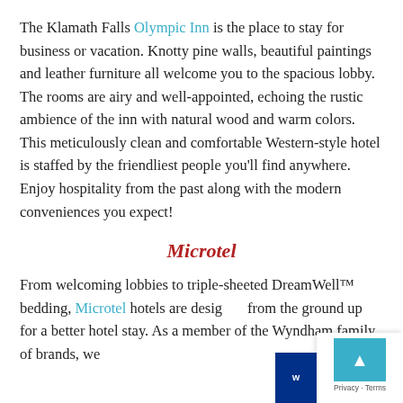The Klamath Falls Olympic Inn is the place to stay for business or vacation. Knotty pine walls, beautiful paintings and leather furniture all welcome you to the spacious lobby. The rooms are airy and well-appointed, echoing the rustic ambience of the inn with natural wood and warm colors. This meticulously clean and comfortable Western-style hotel is staffed by the friendliest people you'll find anywhere. Enjoy hospitality from the past along with the modern conveniences you expect!
Microtel
From welcoming lobbies to triple-sheeted DreamWell™ bedding, Microtel hotels are designed from the ground up for a better hotel stay. As a member of the Wyndham family of brands, we